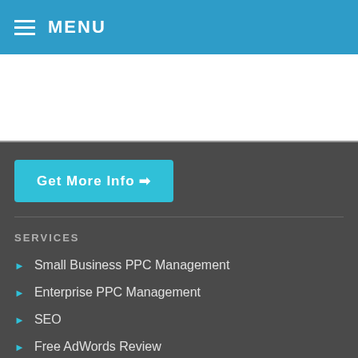MENU
[Figure (other): White banner/ad area below the navigation header]
Get More Info →
SERVICES
Small Business PPC Management
Enterprise PPC Management
SEO
Free AdWords Review
SUPPORT